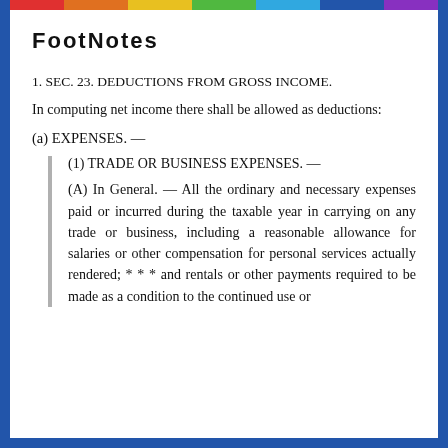FootNotes
1. SEC. 23. DEDUCTIONS FROM GROSS INCOME.
In computing net income there shall be allowed as deductions:
(a) EXPENSES. —
(1) TRADE OR BUSINESS EXPENSES. —
(A) In General. — All the ordinary and necessary expenses paid or incurred during the taxable year in carrying on any trade or business, including a reasonable allowance for salaries or other compensation for personal services actually rendered; * * * and rentals or other payments required to be made as a condition to the continued use or